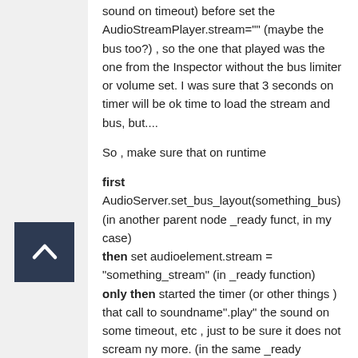sound on timeout) before set the AudioStreamPlayer.stream="" (maybe the bus too?) , so the one that played was the one from the Inspector without the bus limiter or volume set. I was sure that 3 seconds on timer will be ok time to load the stream and bus, but....
So , make sure that on runtime
first AudioServer.set_bus_layout(something_bus) (in another parent node _ready funct, in my case)
then set audioelement.stream = "something_stream" (in _ready function)
only then started the timer (or other things ) that call to soundname".play" the sound on some timeout, etc , just to be sure it does not scream ny more. (in the same _ready function)
[Figure (illustration): Dark navy blue scroll-to-top button with white upward chevron arrow icon]
At first, in panic, i erased the stream from the inspector, but now it does not matter if is there or not)